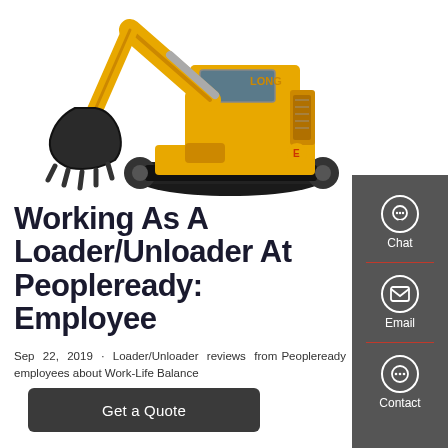[Figure (photo): Yellow excavator/construction machine on white background]
Working As A Loader/Unloader At Peopleready: Employee
Sep 22, 2019 · Loader/Unloader reviews from Peopleready employees about Work-Life Balance
Get a Quote